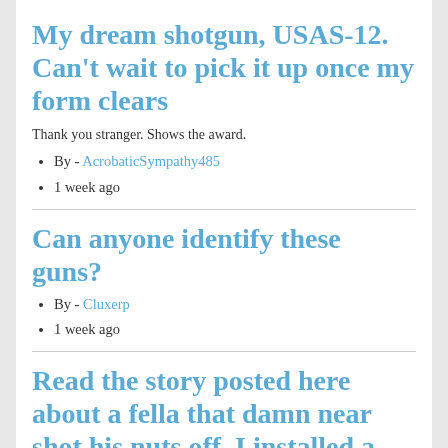My dream shotgun, USAS-12. Can't wait to pick it up once my form clears
Thank you stranger. Shows the award.
By - AcrobaticSympathy485
1 week ago
Can anyone identify these guns?
By - Cluxerp
1 week ago
Read the story posted here about a fella that damn near shot his nuts off. I installed a